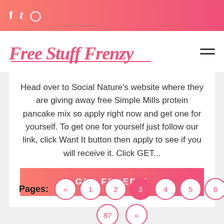Free Stuff Frenzy — social icons header
Head over to Social Nature's website where they are giving away free Simple Mills protein pancake mix so apply right now and get one for yourself. To get one for yourself just follow our link, click Want It button then apply to see if you will receive it. Click GET...
GET FREEBIE
Pages: « 1 2 3 4 5 6 7 ... 87 »